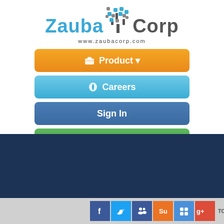[Figure (logo): Zauba Corp logo with tree icon and website URL www.zaubacorp.com]
[Figure (screenshot): Navigation buttons: Product (orange), Careers (light blue), Sign In (blue), Sign Up (green)]
[Figure (screenshot): Dark blue section with radio buttons for Company, Director, Trademark, Address and search input field]
[Figure (screenshot): Footer with social media icons (Facebook, Twitter, LinkedIn, StumbleUpon, Delicious, Google+) and TOP OF PAGE text]